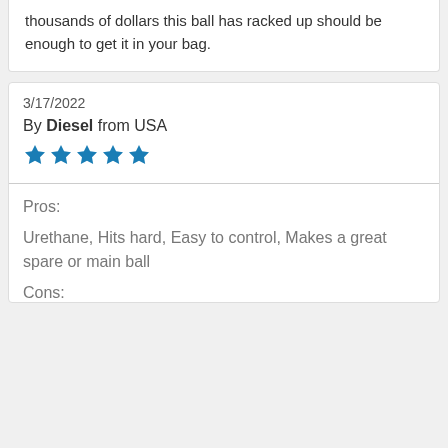thousands of dollars this ball has racked up should be enough to get it in your bag.
3/17/2022
By Diesel from USA
[Figure (other): 5 filled blue stars rating]
Pros:
Urethane, Hits hard, Easy to control, Makes a great spare or main ball
Cons: